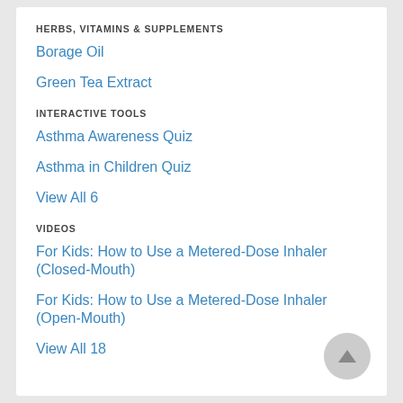HERBS, VITAMINS & SUPPLEMENTS
Borage Oil
Green Tea Extract
INTERACTIVE TOOLS
Asthma Awareness Quiz
Asthma in Children Quiz
View All 6
VIDEOS
For Kids: How to Use a Metered-Dose Inhaler (Closed-Mouth)
For Kids: How to Use a Metered-Dose Inhaler (Open-Mouth)
View All 18